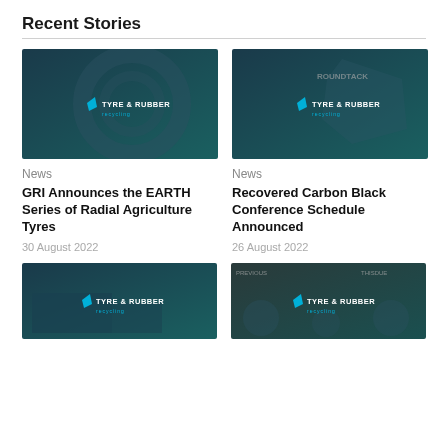Recent Stories
[Figure (photo): Dark teal/navy background with tyre circle silhouette and Tyre & Rubber Recycling logo with blue leaf icon]
News
GRI Announces the EARTH Series of Radial Agriculture Tyres
30 August 2022
[Figure (photo): Dark teal/navy background with map/country shape silhouette, Roundtack branding, and Tyre & Rubber Recycling logo with blue leaf icon]
News
Recovered Carbon Black Conference Schedule Announced
26 August 2022
[Figure (photo): Dark teal/navy background with building silhouette and Tyre & Rubber Recycling logo with blue leaf icon]
[Figure (photo): Dark grey/teal background with hexagon pattern circles, previous/next labels, and Tyre & Rubber Recycling logo with blue leaf icon]